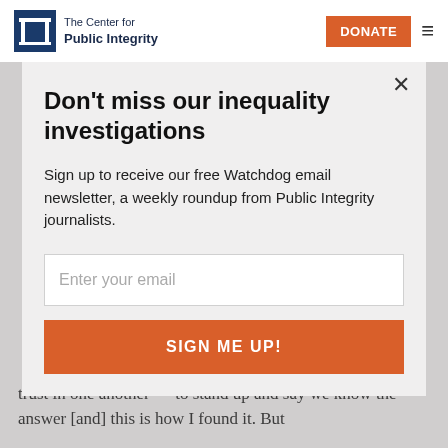The Center for Public Integrity | DONATE
Don't miss our inequality investigations
Sign up to receive our free Watchdog email newsletter, a weekly roundup from Public Integrity journalists.
Enter your email
SIGN ME UP!
trust in one another — to stand up and say we know the answer [and] this is how I found it. But